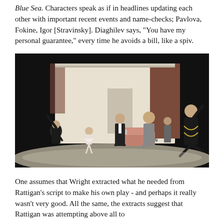Blue Sea. Characters speak as if in headlines updating each other with important recent events and name-checks; Pavlova, Fokine, Igor [Stravinsky]. Diaghilev says, "You have my personal guarantee," every time he avoids a bill, like a spiv.
[Figure (photo): A theatrical stage scene showing several performers in period costume. A man in dark coat on left raises his arm, a ballerina in white tutu stands centre-left, a man in suit with white tie holds a glass in centre, an older man in grey suit gestures to his right, a figure in background, and a woman in elaborate dark dress with gold trim dances energetically on the far right. The stage has a classical interior set with curtains and a pink sofa.]
One assumes that Wright extracted what he needed from Rattigan's script to make his own play - and perhaps it really wasn't very good. All the same, the extracts suggest that Rattigan was attempting above all to